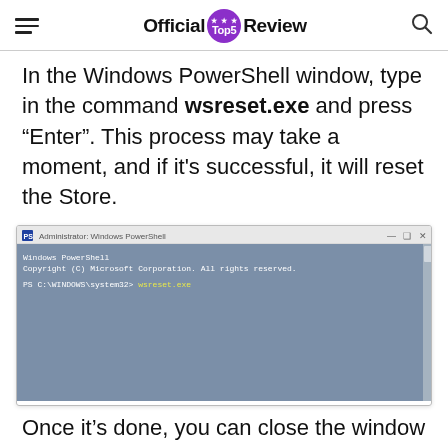Official Top5 Review
In the Windows PowerShell window, type in the command wsreset.exe and press “Enter”. This process may take a moment, and if it's successful, it will reset the Store.
[Figure (screenshot): Windows PowerShell window showing the command 'PS C:\WINDOWS\system32> wsreset.exe' typed in the administrator PowerShell console]
Once it’s done, you can close the window and...